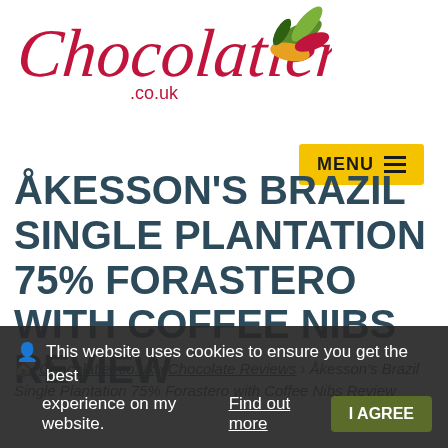[Figure (logo): Chocolatier.co.uk script logo in red/crimson with decorative cacao pod illustration in green/gold/red on the right]
[Figure (other): Yellow MENU button with hamburger icon (three horizontal lines) in top right area]
ÅKESSON'S BRAZIL SINGLE PLANTATION 75% FORASTERO WITH COFFEE NIBS REVIEW
Chocolatier.co.uk › Chocolate Reviews › Åkesson's Brazil Single Plantation 75% Forastero with Coffee Nibs Review
This website uses cookies to ensure you get the best experience on my website. Find out more  I AGREE